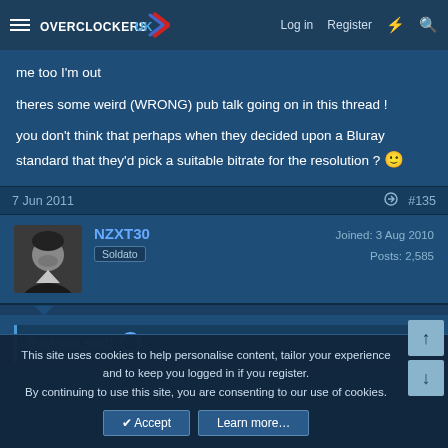Overclockers UK — Log in | Register
me too I'm out

theres some weird (WRONG) pub talk going on in this thread !

you don't think that perhaps when they decided upon a Bluray standard that they'd pick a suitable bitrate for the resolution ? 🙂
7 Jun 2011  #135
NZXT30
Soldato
Joined: 3 Aug 2010
Posts: 2,585
Buckster said: ↑
This site uses cookies to help personalise content, tailor your experience and to keep you logged in if you register.
By continuing to use this site, you are consenting to our use of cookies.
Accept  Learn more...